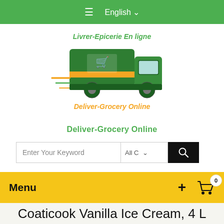≡ English ∨
[Figure (logo): Deliver-Grocery Online logo: green delivery truck with grocery basket, text 'Livrer-Epicerie En ligne' above and 'Deliver-Grocery Online' below]
Deliver-Grocery Online
Enter Your Keyword  All C ∨  🔍
Menu  +  🛒 0
Coaticook Vanilla Ice Cream, 4 L
🏠 › Dairy & Egg › Ice Cream › Coaticook Vanilla Ice Cream, 4 L